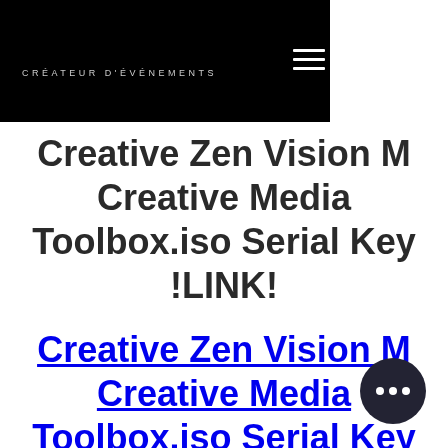7ÈME SUD CRÉATEUR D'ÉVÉNEMENTS
Creative Zen Vision M Creative Media Toolbox.iso Serial Key !LINK!
Creative Zen Vision M Creative Media Toolbox.iso Serial Key